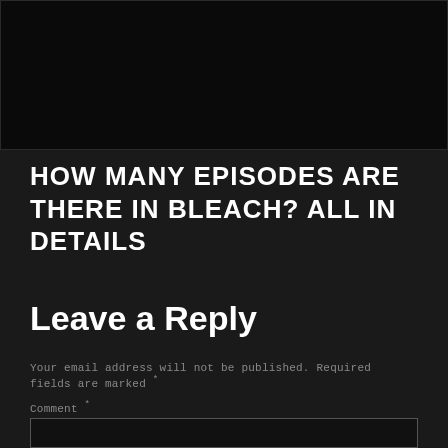[Figure (photo): Dark image block at the top of the page, mostly black]
HOW MANY EPISODES ARE THERE IN BLEACH? ALL IN DETAILS
Leave a Reply
Your email address will not be published. Required fields are marked *
Comment *